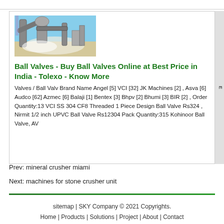[Figure (photo): Industrial equipment photo showing large pipes and machinery at an outdoor facility]
Ball Valves - Buy Ball Valves Online at Best Price in India - Tolexo - Know More
Valves / Ball Valv Brand Name Angel [5] VCI [32] JK Machines [2] , Asva [6] Audco [62] Azmec [6] Balaji [1] Bentex [3] Bhpv [2] Bhumi [3] BIR [2] , Order Quantity:13 VCI SS 304 CF8 Threaded 1 Piece Design Ball Valve Rs324 , Nirmit 1/2 inch UPVC Ball Valve Rs12304 Pack Quantity:315 Kohinoor Ball Valve, AV
Prev: mineral crusher miami
Next: machines for stone crusher unit
sitemap | SKY Company © 2021 Copyrights.
Home | Products | Solutions | Project | About | Contact